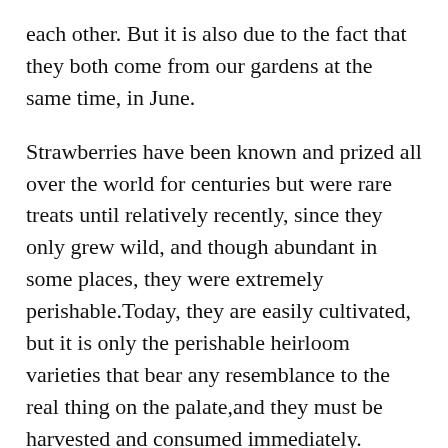each other. But it is also due to the fact that they both come from our gardens at the same time, in June.
Strawberries have been known and prized all over the world for centuries but were rare treats until relatively recently, since they only grew wild, and though abundant in some places, they were extremely perishable.Today, they are easily cultivated, but it is only the perishable heirloom varieties that bear any resemblance to the real thing on the palate,and they must be harvested and consumed immediately.
The typical grocery store strawberry has been cultivated and hybridized out of all resemblance to its ancestors in an effort to increase its shelf life and shipability. Flavor and nutritional value have not been concerns among